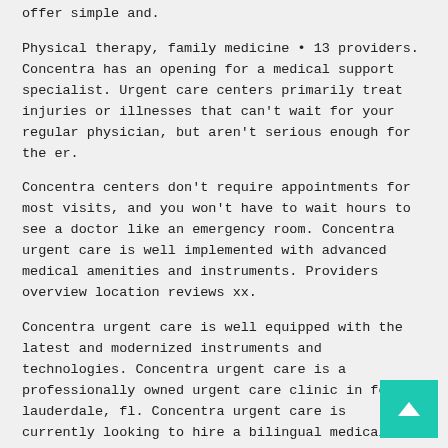offer simple and.
Physical therapy, family medicine • 13 providers. Concentra has an opening for a medical support specialist. Urgent care centers primarily treat injuries or illnesses that can't wait for your regular physician, but aren't serious enough for the er.
Concentra centers don't require appointments for most visits, and you won't have to wait hours to see a doctor like an emergency room. Concentra urgent care is well implemented with advanced medical amenities and instruments. Providers overview location reviews xx.
Concentra urgent care is well equipped with the latest and modernized instruments and technologies. Concentra urgent care is a professionally owned urgent care clinic in fort lauderdale, fl. Concentra urgent care is currently looking to hire a bilingual medical assistant for their bedford park, il location.
They have strong technical support from the employees deal with any complex cases. Concentra urgent care is a